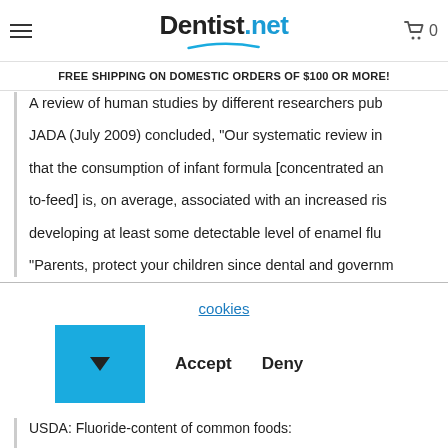Dentist.net — FREE SHIPPING ON DOMESTIC ORDERS OF $100 OR MORE!
A review of human studies by different researchers pub... JADA (July 2009) concluded, "Our systematic review in... that the consumption of infant formula [concentrated an... to-feed] is, on average, associated with an increased ris... developing at least some detectable level of enamel flu...
"Parents, protect your children since dental and governm...
cookies
[Figure (other): Cookie consent dropdown button (blue square with down arrow) and Accept/Deny buttons]
USDA: Fluoride-content of common foods:
http://www.ars.usda.gov/Services/docs.htm?docid=631...